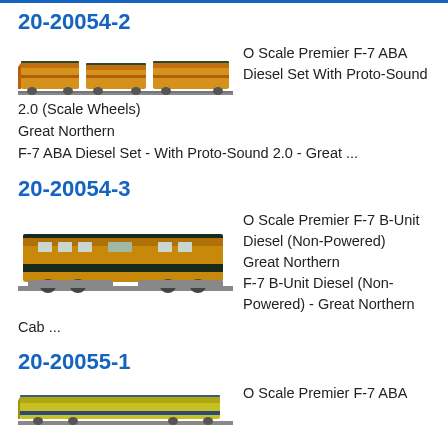20-20054-2
[Figure (illustration): O Scale model train - Great Northern F-7 ABA Diesel Set, orange and green locomotive set]
O Scale Premier F-7 ABA Diesel Set With Proto-Sound 2.0 (Scale Wheels)
Great Northern
F-7 ABA Diesel Set - With Proto-Sound 2.0 - Great ...
20-20054-3
[Figure (illustration): O Scale model train - Great Northern F-7 B-Unit Diesel (Non-Powered), orange and dark green B-unit]
O Scale Premier F-7 B-Unit Diesel (Non-Powered)
Great Northern
F-7 B-Unit Diesel (Non-Powered) - Great Northern Cab ...
20-20055-1
[Figure (illustration): O Scale model train - F-7 ABA Diesel Set, yellow and blue locomotive]
O Scale Premier F-7 ABA